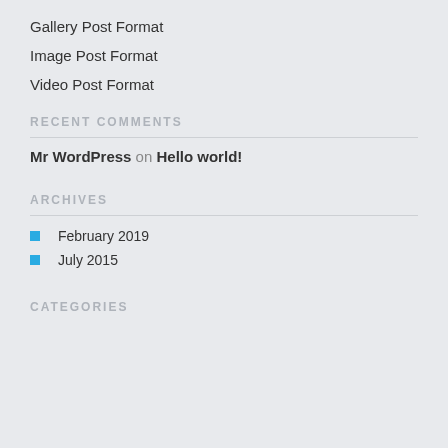Gallery Post Format
Image Post Format
Video Post Format
RECENT COMMENTS
Mr WordPress on Hello world!
ARCHIVES
February 2019
July 2015
CATEGORIES